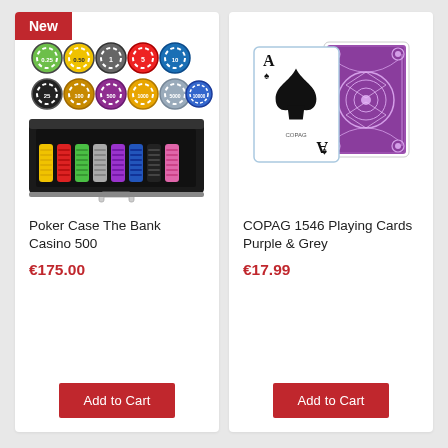[Figure (photo): Poker chip set in aluminum case with colorful chips labeled 0.25, 0.50, 1, 5, 10, 25, 100, 500, 1000, 5000, 10000 arranged above an open silver aluminum case containing rows of poker chips. A red 'New' badge is in the top-left corner.]
Poker Case The Bank Casino 500
€175.00
Add to Cart
[Figure (photo): Two playing cards shown: left is Ace of Spades face-up with COPAG branding, right is the back of a card with a purple and grey decorative floral pattern.]
COPAG 1546 Playing Cards Purple & Grey
€17.99
Add to Cart